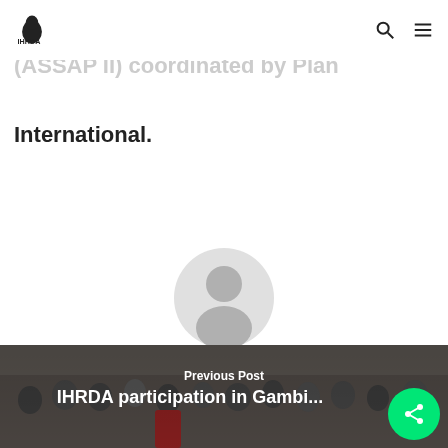IHRDA
African States Accountability Programme (ASSAP II) coordinated by Plan International.
[Figure (illustration): Default user avatar icon — grey silhouette of a person]
Bessem Ayuk
[Figure (photo): Group photo of young people in front of a building]
Previous Post
IHRDA participation in Gambia...